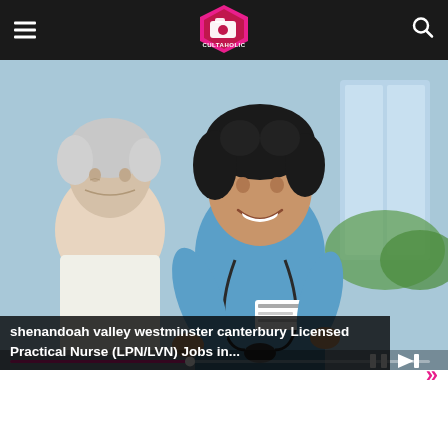Cultaholic — navigation header with hamburger menu and search icon
[Figure (photo): A smiling female nurse in blue scrubs with a stethoscope, attending to an elderly male patient. Indoor healthcare setting with window in background.]
shenandoah valley westminster canterbury Licensed Practical Nurse (LPN/LVN) Jobs in...